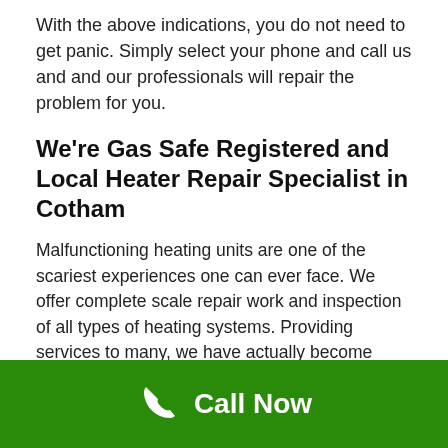With the above indications, you do not need to get panic. Simply select your phone and call us and and our professionals will repair the problem for you.
We're Gas Safe Registered and Local Heater Repair Specialist in Cotham
Malfunctioning heating units are one of the scariest experiences one can ever face. We offer complete scale repair work and inspection of all types of heating systems. Providing services to many, we have actually become Hobarts biggest heating repair company. Furthermore, we are gas safe registered and so you don't need to worry.
[Figure (photo): Broken image placeholder with alt text 'heating installtion Cotham']
Local Heating System Repair
Call Now